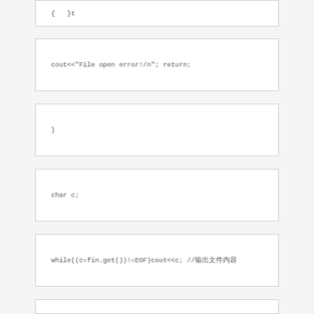{ }
cout<<"File open error!/n"; return;
}
char c;
while((c=fin.get())!=EOF)cout<<c; //输出文件内容